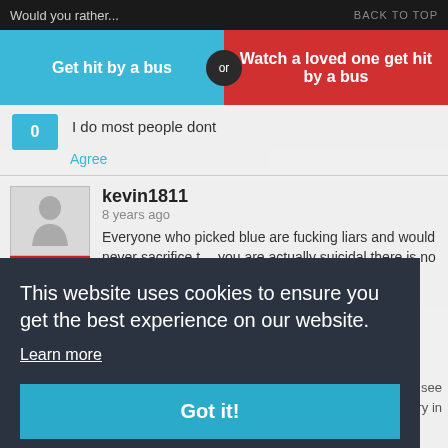Would you rather...   BACK TO TOP
Get hit by a bus  or  Watch a loved one get hit by a bus
I do most people dont
Agree
kevin1811
8 years ago
Everyone who picked blue are fucking liars and would never sacrifice themselves. Unless you are actually suicidal there is no way you would kill yourself to save
Agree · Reply
This website uses cookies to ensure you get the best experience on our website.
Learn more
Got it!
9 years ago